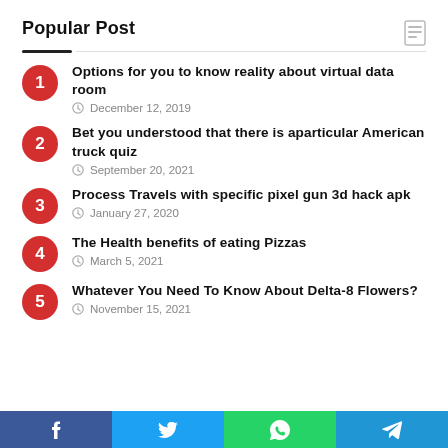Popular Post
Options for you to know reality about virtual data room
December 12, 2019
Bet you understood that there is aparticular American truck quiz
September 20, 2021
Process Travels with specific pixel gun 3d hack apk
January 27, 2020
The Health benefits of eating Pizzas
March 5, 2021
Whatever You Need To Know About Delta-8 Flowers?
November 15, 2021
f  t  WhatsApp  Telegram